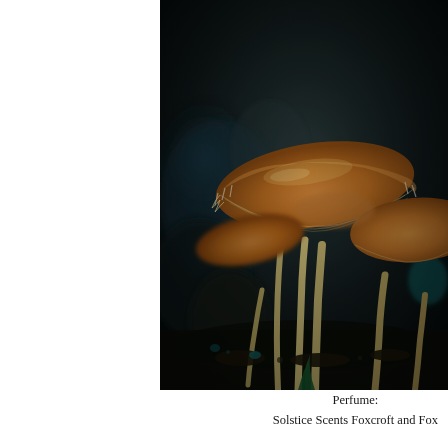[Figure (photo): Close-up macro photograph of a cluster of orange-brown mushrooms with delicate white-fringed caps on long thin pale stems, set against a dark blurred background with hints of teal and dark foliage. A green leaf tip is visible at the bottom center.]
Perfume:
Solstice Scents Foxcroft and Fox